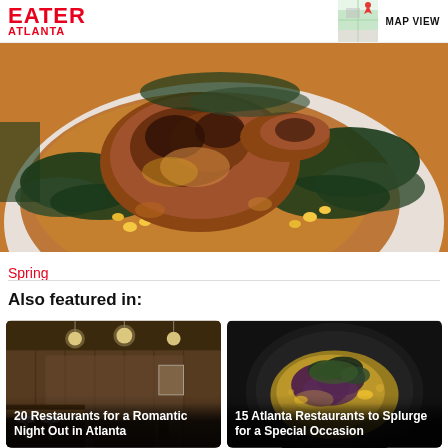EATER ATLANTA
[Figure (photo): Overhead close-up of a roasted chicken or duck dish on a white plate with dark leafy greens, corn kernels, and orange-brown sauce]
Spring
Also featured in:
[Figure (photo): Interior of a restaurant with warm brown wood paneling, pendant globe lights, and bar seating, text overlay: 20 Restaurants for a Romantic Night Out in Atlanta]
[Figure (photo): Dark background with an elegantly plated dish featuring purple vegetables and yellow sauce, text overlay: 15 Atlanta Restaurants to Splurge for a Special Occasion]